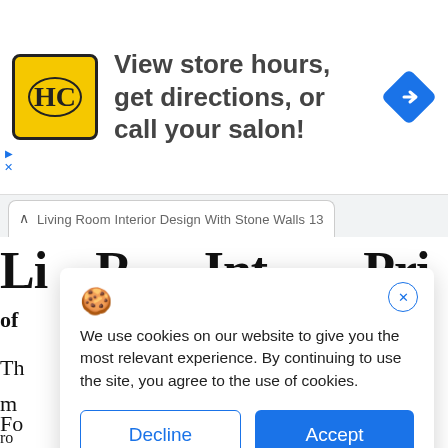[Figure (other): Advertisement banner: HC logo (yellow square with black circle and HC letters), text 'View store hours, get directions, or call your salon!' and a blue diamond navigation icon on the right.]
Living Room Interior Design With Stone Walls 13
Li... (partial large serif title)
of
Th... y
m
Fo...
ro
You can also use a thick carpet with black and white...
We use cookies on our website to give you the most relevant experience. By continuing to use the site, you agree to the use of cookies.
Decline
Accept